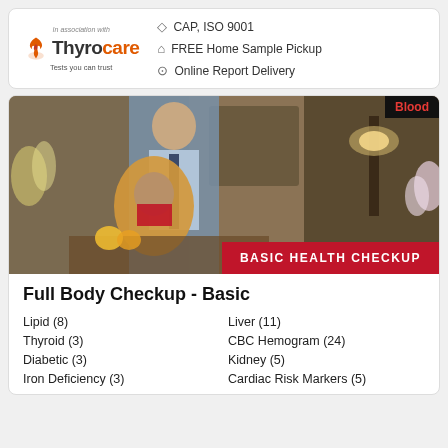[Figure (logo): Thyrocare logo with tagline 'Tests you can trust' and association text]
CAP, ISO 9001
FREE Home Sample Pickup
Online Report Delivery
[Figure (photo): A man and woman smiling at home, with 'BASIC HEALTH CHECKUP' banner and 'Blood' badge]
Full Body Checkup - Basic
Lipid (8)
Liver (11)
Thyroid (3)
CBC Hemogram (24)
Diabetic (3)
Kidney (5)
Iron Deficiency (3)
Cardiac Risk Markers (5)